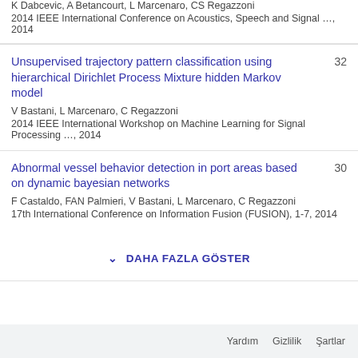K Dabcevic, A Betancourt, L Marcenaro, CS Regazzoni
2014 IEEE International Conference on Acoustics, Speech and Signal …, 2014
Unsupervised trajectory pattern classification using hierarchical Dirichlet Process Mixture hidden Markov model
V Bastani, L Marcenaro, C Regazzoni
2014 IEEE International Workshop on Machine Learning for Signal Processing …, 2014
32
Abnormal vessel behavior detection in port areas based on dynamic bayesian networks
F Castaldo, FAN Palmieri, V Bastani, L Marcenaro, C Regazzoni
17th International Conference on Information Fusion (FUSION), 1-7, 2014
30
DAHA FAZLA GÖSTER
Yardım  Gizlilik  Şartlar